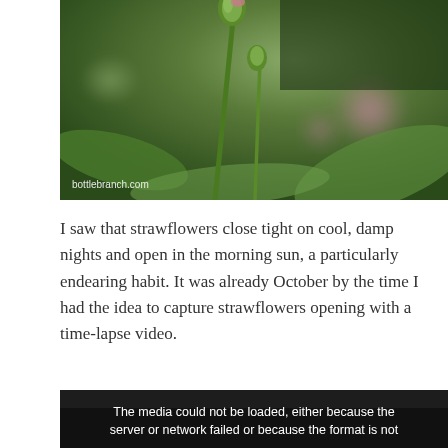[Figure (photo): Close-up macro photograph of strawflower buds on green stems against a soft blurred green and pink bokeh background. Watermark reads 'bottlebranch.com' in white text at bottom left.]
I saw that strawflowers close tight on cool, damp nights and open in the morning sun, a particularly endearing habit. It was already October by the time I had the idea to capture strawflowers opening with a time-lapse video.
[Figure (screenshot): Video player showing error message: 'The media could not be loaded, either because the server or network failed or because the format is not']